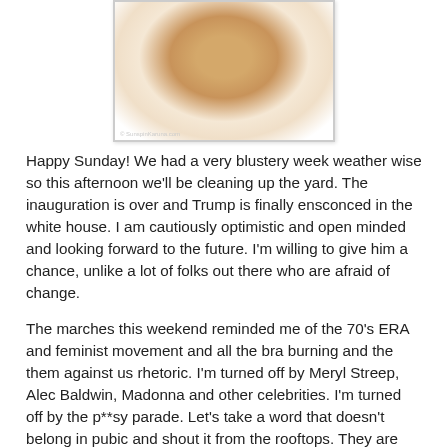[Figure (photo): Close-up photo of a white ceramic cup or bowl on a black background, showing creamy/tan colored liquid or interior, with a watermark reading '© SunspinKaruna.com' at the bottom left.]
Happy Sunday!  We had a very blustery week weather wise so this afternoon we'll be cleaning up the yard.  The inauguration is over and Trump is finally ensconced in the white house.  I am cautiously optimistic and open minded and looking forward to the future.  I'm willing to give him a chance, unlike a lot of folks out there who are afraid of change.
The marches this weekend reminded me of the 70's ERA and feminist movement and all the bra burning and the them against us rhetoric.  I'm turned off by Meryl Streep, Alec Baldwin, Madonna and other celebrities.  I'm turned off by the p**sy parade.  Let's take a word that doesn't belong in pubic and shout it from the rooftops. They are offensive, more so than Trump.  People forgave Bill Clinton for his